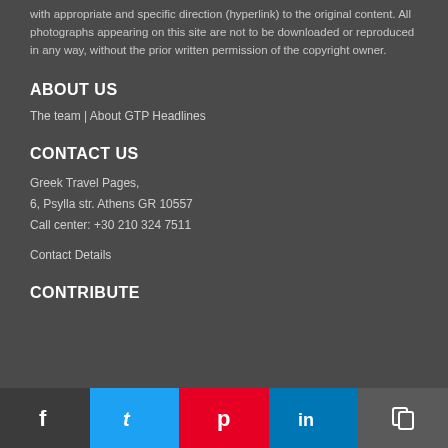with appropriate and specific direction (hyperlink) to the original content. All photographs appearing on this site are not to be downloaded or reproduced in any way, without the prior written permission of the copyright owner.
ABOUT US
The team  |  About GTP Headlines
CONTACT US
Greek Travel Pages,
6, Psylla str. Athens GR 10557
Call center: +30 210 324 7511
Contact Details
CONTRIBUTE
[Figure (other): Social sharing bar with Facebook, Twitter, Pinterest, LinkedIn, and copy link buttons]